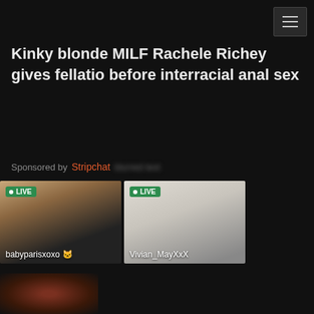[Figure (other): Hamburger menu button top right]
Kinky blonde MILF Rachele Richey gives fellatio before interracial anal sex
Sponsored by Stripchat [blurred text]
[Figure (other): Live stream thumbnail for babyparisxoxo showing blonde woman in black top, with green LIVE badge]
[Figure (other): Live stream thumbnail for Vivian_MayXxX showing white ribbed top, with green LIVE badge]
[Figure (other): Partial thumbnail at bottom with redhead visible]